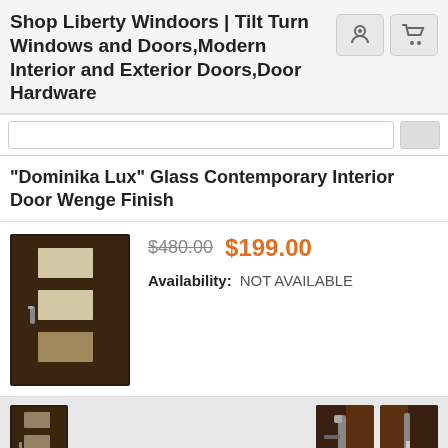Shop Liberty Windoors | Tilt Turn Windows and Doors,Modern Interior and Exterior Doors,Door Hardware
[Figure (screenshot): Search bar input field with button]
"Dominika Lux" Glass Contemporary Interior Door Wenge Finish
[Figure (photo): Dark wenge finish interior door with frosted glass panels]
$480.00 $199.00 Availability: NOT AVAILABLE
[Figure (photo): Thumbnail images of door product from various angles]
Price: $480.00 $199.00
Availability: NOT AVAILABLE